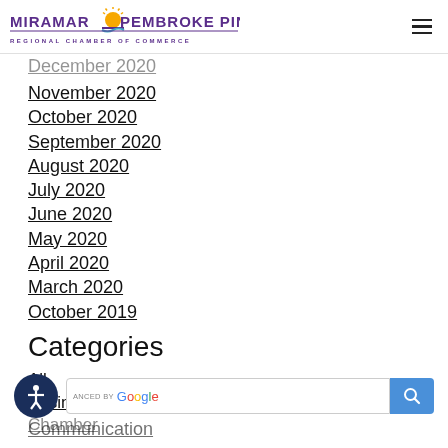Miramar Pembroke Pines Regional Chamber of Commerce
December 2020 (partially visible)
November 2020
October 2020
September 2020
August 2020
July 2020
June 2020
May 2020
April 2020
March 2020
October 2019
Categories
All
Business
Chamber (partially visible)
Communication (partially visible)